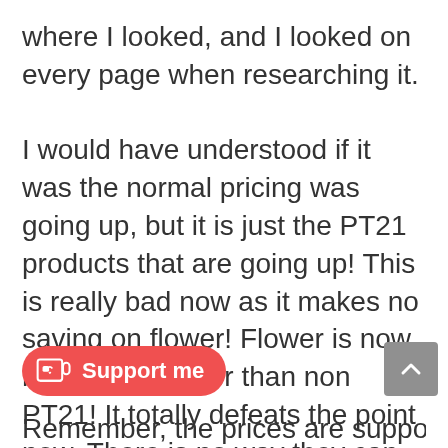where I looked, and I looked on every page when researching it.

I would have understood if it was the normal pricing was going up, but it is just the PT21 products that are going up! This is really bad now as it makes no saving on flower! Flower is now more no cheaper than non PT21! It totally defeats the point now. There is no way they can say that this price increase is justified with the quality of cannabis. Remember you have other fees on top too. Doctors fees, prescription fees etc.
They are making those of us who need more than others, pay a LOT more with the new justified.
Remember, the prices are supposed to be